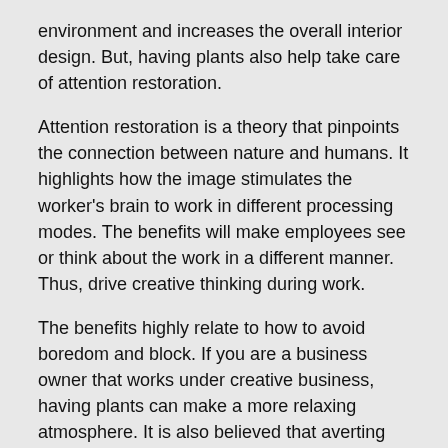environment and increases the overall interior design. But, having plants also help take care of attention restoration.
Attention restoration is a theory that pinpoints the connection between nature and humans. It highlights how the image stimulates the worker's brain to work in different processing modes. The benefits will make employees see or think about the work in a different manner. Thus, drive creative thinking during work.
The benefits highly relate to how to avoid boredom and block. If you are a business owner that works under creative business, having plants can make a more relaxing atmosphere. It is also believed that averting attention from computers and looking at the natural element will stir your brain to make different ways of thinking. Thus, boosting concentration and creativity.